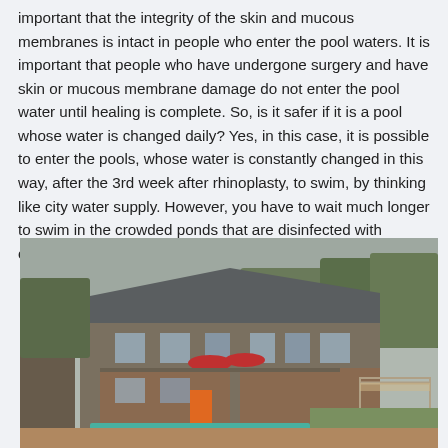important that the integrity of the skin and mucous membranes is intact in people who enter the pool waters. It is important that people who have undergone surgery and have skin or mucous membrane damage do not enter the pool water until healing is complete. So, is it safer if it is a pool whose water is changed daily? Yes, in this case, it is possible to enter the pools, whose water is constantly changed in this way, after the 3rd week after rhinoplasty, to swim, by thinking like city water supply. However, you have to wait much longer to swim in the crowded ponds that are disinfected with conventional chlorine and in which many people swim.
[Figure (photo): Aerial/elevated view of a multi-story brick and concrete house with a swimming pool in the foreground, surrounded by trees. Red umbrellas visible on a patio/balcony area. Orange door visible. Overcast sky.]